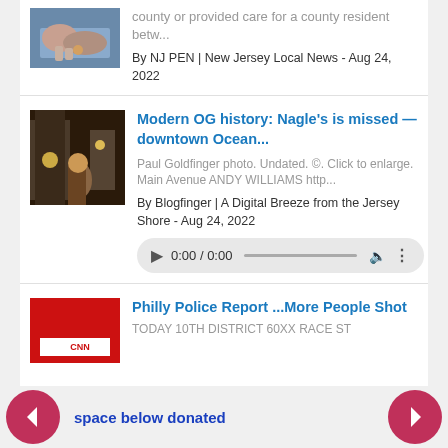[Figure (photo): Partial photo at top, hands visible, partially cropped]
county or provided care for a county resident betw...
By NJ PEN | New Jersey Local News - Aug 24, 2022
[Figure (photo): Photo of a restaurant or bar interior at night, person visible]
Modern OG history: Nagle's is missed — downtown Ocean...
Paul Goldfinger photo. Undated. ©. Click to enlarge.  Main Avenue   ANDY WILLIAMS  http...
By Blogfinger | A Digital Breeze from the Jersey Shore - Aug 24, 2022
[Figure (other): Audio player showing 0:00 / 0:00]
[Figure (photo): Red square image, partially visible, appears to be a report cover]
Philly Police Report ...More People Shot
TODAY  10TH DISTRICT  60XX RACE ST
space below donated
[Figure (other): Left navigation arrow (back button), pink/red circle]
[Figure (other): Right navigation arrow (forward button), pink/red circle]